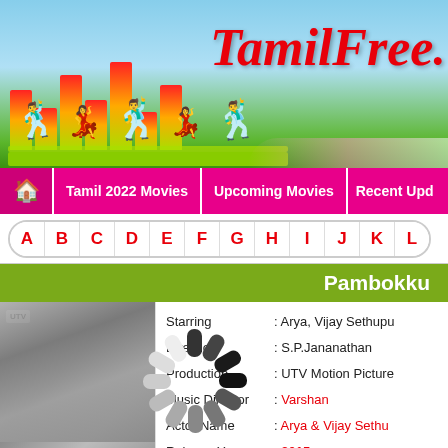[Figure (illustration): TamilFree website banner with colorful dancing silhouette figures on equalizer bars, sky background, and red cursive TamilFree logo text]
Tamil 2022 Movies | Upcoming Movies | Recent Updates
A B C D E F G H I J K L
Pambokku
| Field | Value |
| --- | --- |
| Starring | Arya, Vijay Sethupathi |
| Direction | : S.P.Jananathan |
| Production | : UTV Motion Pictures |
| Music Director | : Varshan |
| Actor Name | : Arya & Vijay Sethupathi |
| Release Year | : 2015 |